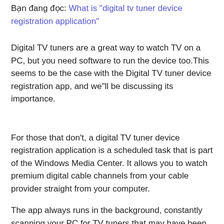Bạn đang đọc: What is "digital tv tuner device registration application"
Digital TV tuners are a great way to watch TV on a PC, but you need software to run the device too.This seems to be the case with the Digital TV tuner device registration app, and we"ll be discussing its importance.
For those that don't, a digital TV tuner device registration application is a scheduled task that is part of the Windows Media Center. It allows you to watch premium digital cable channels from your cable provider straight from your computer.
The app always runs in the background, constantly scanning your PC for TV tuners that may have been attached. The only problem with this type of apps is that they have a bad habit of slowing...